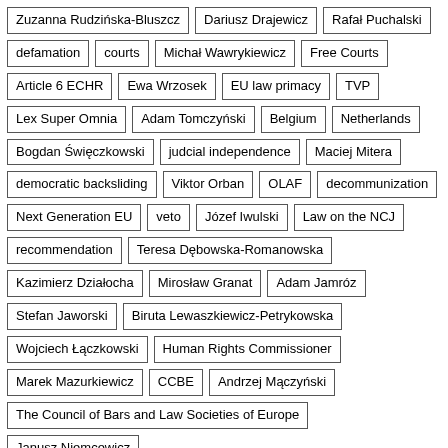Zuzanna Rudzińska-Bluszcz
Dariusz Drajewicz
Rafał Puchalski
defamation
courts
Michał Wawrykiewicz
Free Courts
Article 6 ECHR
Ewa Wrzosek
EU law primacy
TVP
Lex Super Omnia
Adam Tomczyński
Belgium
Netherlands
Bogdan Święczkowski
judcial independence
Maciej Mitera
democratic backsliding
Viktor Orban
OLAF
decommunization
Next Generation EU
veto
Józef Iwulski
Law on the NCJ
recommendation
Teresa Dębowska-Romanowska
Kazimierz Działocha
Mirosław Granat
Adam Jamróz
Stefan Jaworski
Biruta Lewaszkiewicz-Petrykowska
Wojciech Łączkowski
Human Rights Commissioner
Marek Mazurkiewicz
CCBE
Andrzej Mączyński
The Council of Bars and Law Societies of Europe
Janusz Niemcewicz
Małgorzata Pyziak- Szafnicka
Stanisław Rymar
public opinion poll
Ferdynand Rymarz
Andrzej Rzepliński
Jerzy Stępień
Piotr Tuleja